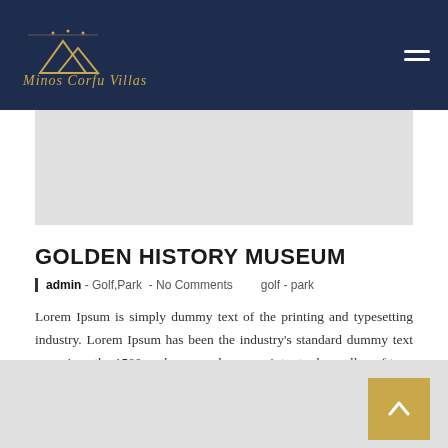Minos Corfu Villas
GOLDEN HISTORY MUSEUM
admin - Golf,Park - No Comments   golf - park
Lorem Ipsum is simply dummy text of the printing and typesetting industry. Lorem Ipsum has been the industry's standard dummy text ever since the 1500s, when an unknown printer took a galley of type and scrambled it to make a type specimen book. It has survived not only five centuries.
[Figure (other): Light gray banner image placeholder below navigation]
[Figure (other): Bottom gray banner section with gold back-to-top arrow button]